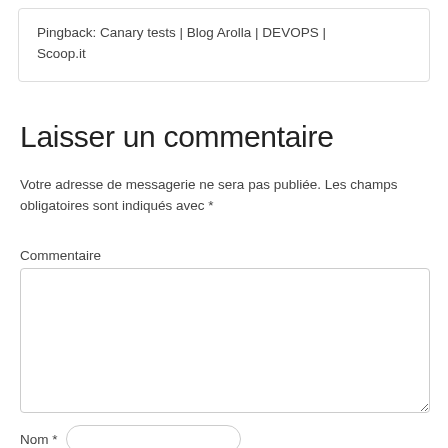Pingback: Canary tests | Blog Arolla | DEVOPS | Scoop.it
Laisser un commentaire
Votre adresse de messagerie ne sera pas publiée. Les champs obligatoires sont indiqués avec *
Commentaire
[Figure (other): Empty comment textarea input field]
Nom *
[Figure (other): Nom text input field with rounded border]